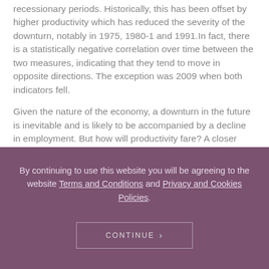recessionary periods. Historically, this has been offset by higher productivity which has reduced the severity of the downturn, notably in 1975, 1980-1 and 1991. In fact, there is a statistically negative correlation over time between the two measures, indicating that they tend to move in opposite directions. The exception was 2009 when both indicators fell.
Given the nature of the economy, a downturn in the future is inevitable and is likely to be accompanied by a decline in employment. But how will productivity fare? A closer look at the data shows that productivity
By continuing to use this website you will be agreeing to the website Terms and Conditions and Privacy and Cookies Policies.
CONTINUE >